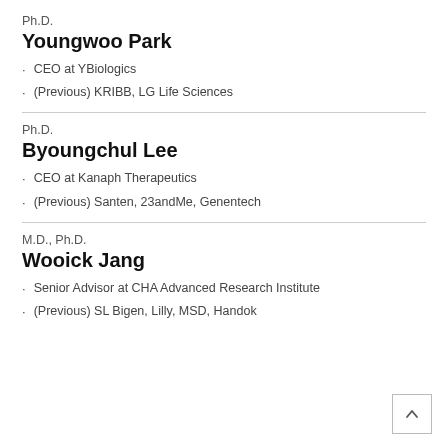Ph.D.
Youngwoo Park
CEO at YBiologics
(Previous) KRIBB, LG Life Sciences
Ph.D.
Byoungchul Lee
CEO at Kanaph Therapeutics
(Previous) Santen, 23andMe, Genentech
M.D., Ph.D.
Wooick Jang
Senior Advisor at CHA Advanced Research Institute
(Previous) SL Bigen, Lilly, MSD, Handok